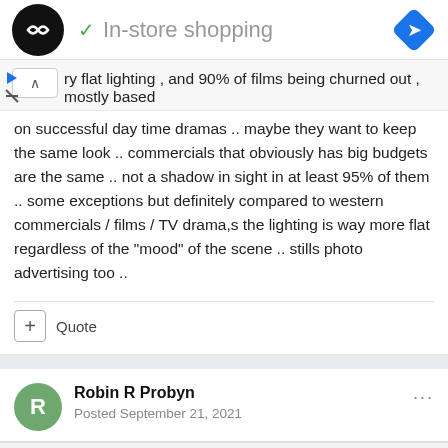[Figure (screenshot): Ad banner with logo circle, checkmark, 'In-store shopping' text, and blue diamond navigation icon]
ry flat lighting , and 90% of films being churned out , mostly based on successful day time dramas .. maybe they want to keep the same look .. commercials that obviously has big budgets are the same .. not a shadow in sight in at least 95% of them .. some exceptions but definitely compared to western commercials / films / TV drama,s the lighting is way more flat regardless of the "mood" of the scene .. stills photo advertising too ..
+ Quote
Robin R Probyn
Posted September 21, 2021